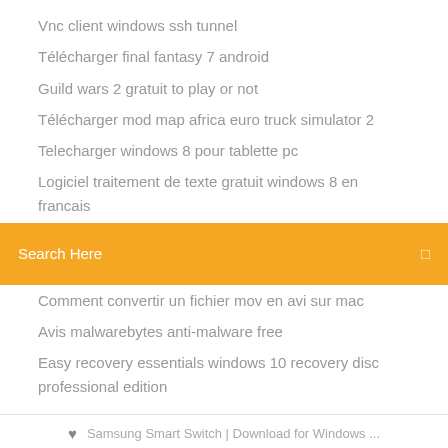Vnc client windows ssh tunnel
Télécharger final fantasy 7 android
Guild wars 2 gratuit to play or not
Télécharger mod map africa euro truck simulator 2
Telecharger windows 8 pour tablette pc
Logiciel traitement de texte gratuit windows 8 en francais
[Figure (other): Orange search bar with text 'Search Here' and a small icon on the right]
Comment convertir un fichier mov en avi sur mac
Avis malwarebytes anti-malware free
Easy recovery essentials windows 10 recovery disc professional edition
Samsung Smart Switch | Download for Windows ...
[Figure (other): Social icons: Facebook, Twitter, Dribbble, Behance]